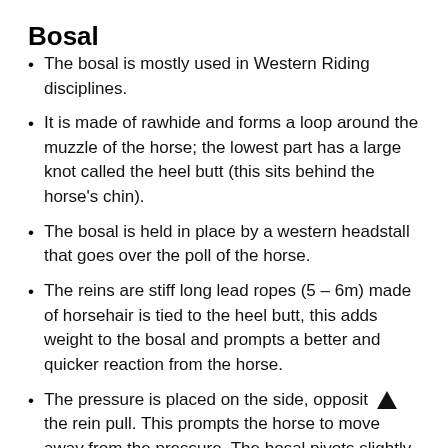Bosal
The bosal is mostly used in Western Riding disciplines.
It is made of rawhide and forms a loop around the muzzle of the horse; the lowest part has a large knot called the heel butt (this sits behind the horse's chin).
The bosal is held in place by a western headstall that goes over the poll of the horse.
The reins are stiff long lead ropes (5 – 6m) made of horsehair is tied to the heel butt, this adds weight to the bosal and prompts a better and quicker reaction from the horse.
The pressure is placed on the side, opposit [arrow] the rein pull. This prompts the horse to move away from the pressure. The bosal pivots slightly and